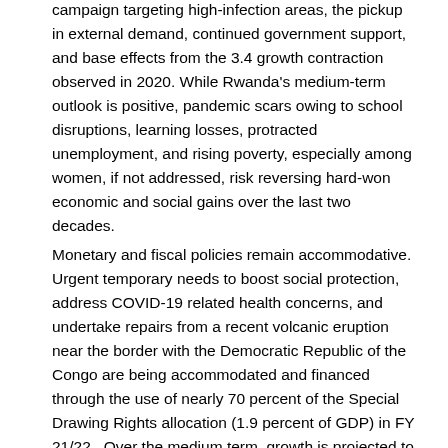campaign targeting high-infection areas, the pickup in external demand, continued government support, and base effects from the 3.4 growth contraction observed in 2020. While Rwanda's medium-term outlook is positive, pandemic scars owing to school disruptions, learning losses, protracted unemployment, and rising poverty, especially among women, if not addressed, risk reversing hard-won economic and social gains over the last two decades.
Monetary and fiscal policies remain accommodative. Urgent temporary needs to boost social protection, address COVID-19 related health concerns, and undertake repairs from a recent volcanic eruption near the border with the Democratic Republic of the Congo are being accommodated and financed through the use of nearly 70 percent of the Special Drawing Rights allocation (1.9 percent of GDP) in FY 21/22 . Over the medium term, growth is projected to gradually converge to the pre-pandemic trend of 7.5 percent supported by strong Foreign Direct Investment (FDI)